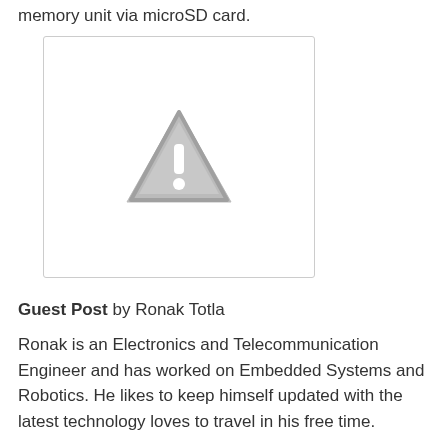memory unit via microSD card.
[Figure (other): Placeholder image with grey warning/alert triangle icon on white background with light grey border]
Guest Post by Ronak Totla
Ronak is an Electronics and Telecommunication Engineer and has worked on Embedded Systems and Robotics. He likes to keep himself updated with the latest technology loves to travel in his free time.
Anonymous at Tuesday, March 03, 2015